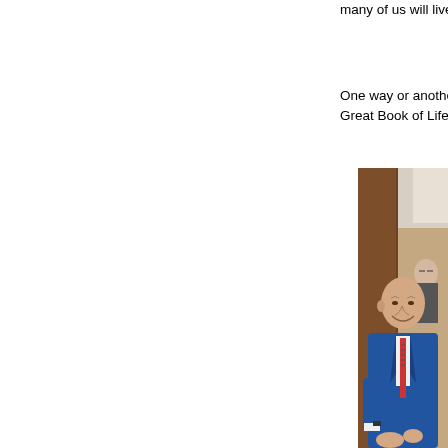many of us will live t
One way or another, Great Book of Life a
[Figure (photo): An elderly man in a blue suit with a red patterned tie, bald head, smiling and clapping or gesturing with his hands. A woman with glasses is visible behind him. Indoor setting with curtains and wooden paneling in the background.]